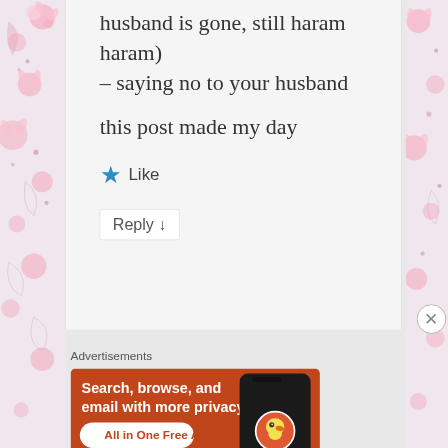husband is gone, still haram haram) – saying no to your husband
this post made my day
Like
Reply ↓
Advertisements
[Figure (screenshot): DuckDuckGo advertisement banner with orange background. Text: 'Search, browse, and email with more privacy. All in One Free App' with a phone mockup showing DuckDuckGo logo.]